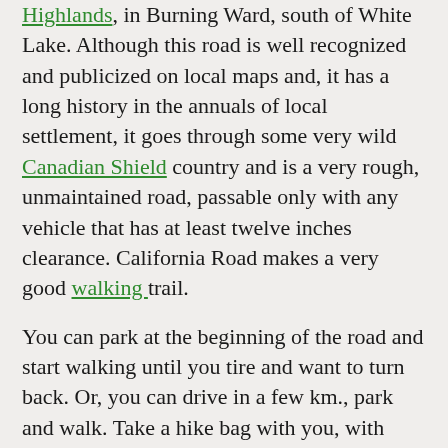Highlands, in Burning Ward, south of White Lake. Although this road is well recognized and publicized on local maps and, it has a long history in the annuals of local settlement, it goes through some very wild Canadian Shield country and is a very rough, unmaintained road, passable only with any vehicle that has at least twelve inches clearance. California Road makes a very good walking trail.
You can park at the beginning of the road and start walking until you tire and want to turn back. Or, you can drive in a few km., park and walk. Take a hike bag with you, with plenty of water and a lunch. Along the way, you will find trails going off into the bush. These are old logging roads or trails into hunting camps. Most of this land is private but some is Crown Land. The road itself is approximately ten km long. Information provided by the MVFN website.